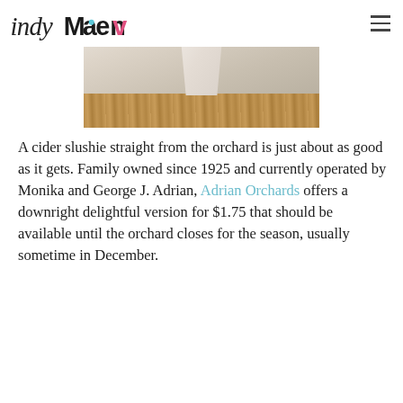indy maven
[Figure (photo): A white paper cup on a wooden table surface, photographed from above and to the side, with warm sunlight.]
A cider slushie straight from the orchard is just about as good as it gets. Family owned since 1925 and currently operated by Monika and George J. Adrian, Adrian Orchards offers a downright delightful version for $1.75 that should be available until the orchard closes for the season, usually sometime in December.